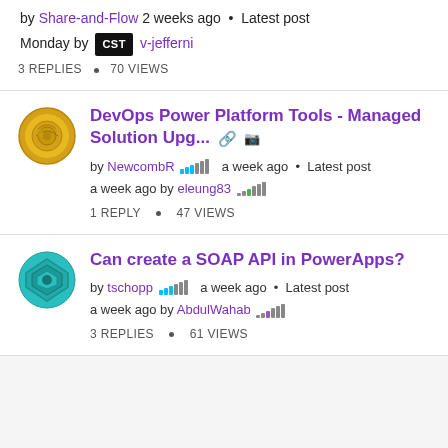by Share-and-Flow 2 weeks ago • Latest post Monday by CST v-jefferni
3 REPLIES • 70 VIEWS
[Figure (illustration): Yellow circular avatar icon with a golden coin/spiral design]
DevOps Power Platform Tools - Managed Solution Upg...
by NewcombR a week ago • Latest post a week ago by eleung83
1 REPLY • 47 VIEWS
[Figure (illustration): Teal circular avatar icon with layered geometric shapes]
Can create a SOAP API in PowerApps?
by tschopp a week ago • Latest post a week ago by AbdulWahab
3 REPLIES • 61 VIEWS